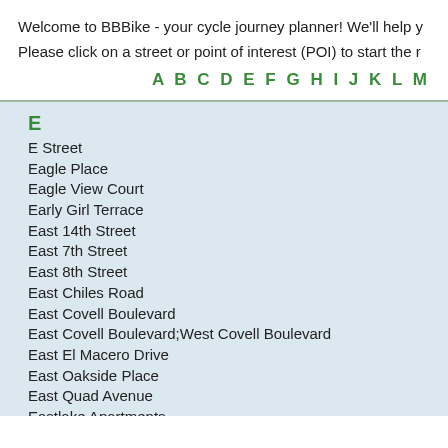Welcome to BBBike - your cycle journey planner! We'll help y
Please click on a street or point of interest (POI) to start the r
A B C D E F G H I J K L M
E
E Street
Eagle Place
Eagle View Court
Early Girl Terrace
East 14th Street
East 7th Street
East 8th Street
East Chiles Road
East Covell Boulevard
East Covell Boulevard;West Covell Boulevard
East El Macero Drive
East Oakside Place
East Quad Avenue
Eastlake Apartments
Eel Avenue
Eel Place